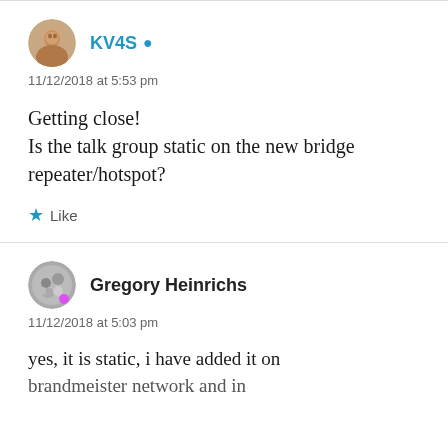KV4S (author icon)
11/12/2018 at 5:53 pm
Getting close!
Is the talk group static on the new bridge repeater/hotspot?
Like
Gregory Heinrichs (author icon)
11/12/2018 at 5:03 pm
yes, it is static, i have added it on brandmeister network and in